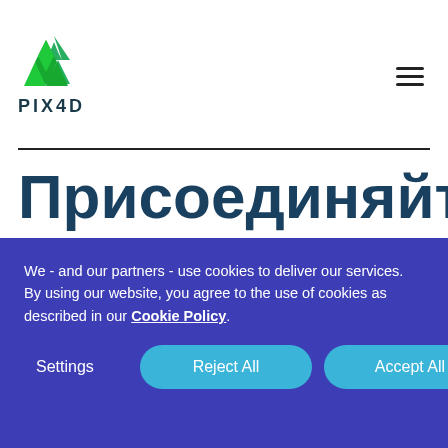[Figure (logo): PIX4D logo with green geometric arrow/triangle icon above the text PIX4D]
[Figure (other): Hamburger menu icon (three horizontal lines) in top right corner]
Присоединяйтесь к нам на
We - and our partners - use cookies to deliver our services. By using our website, you agree to the use of cookies as described in our Cookie Policy.
Settings
Reject All
Accept All